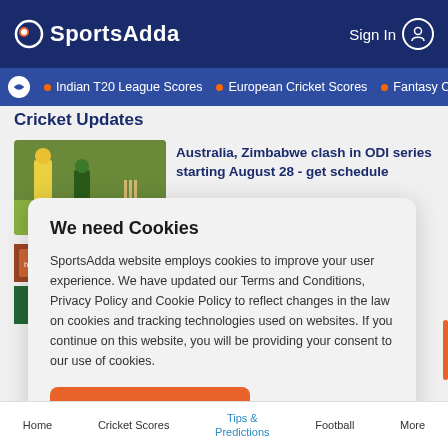SportsAdda  Sign In
Indian T20 League Scores • European Cricket Scores • Fantasy C
Cricket Updates
[Figure (photo): Cricket players in yellow and green uniforms on field]
Australia, Zimbabwe clash in ODI series starting August 28 - get schedule
We need Cookies

SportsAdda website employs cookies to improve your user experience. We have updated our Terms and Conditions, Privacy Policy and Cookie Policy to reflect changes in the law on cookies and tracking technologies used on websites. If you continue on this website, you will be providing your consent to our use of cookies.

Agree
Home  Cricket Scores  Tips & Predictions  Football  More